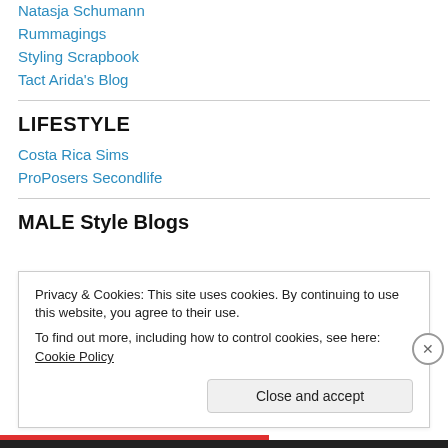Natasja Schumann
Rummagings
Styling Scrapbook
Tact Arida's Blog
LIFESTYLE
Costa Rica Sims
ProPosers Secondlife
MALE Style Blogs
Privacy & Cookies: This site uses cookies. By continuing to use this website, you agree to their use.
To find out more, including how to control cookies, see here: Cookie Policy
Close and accept